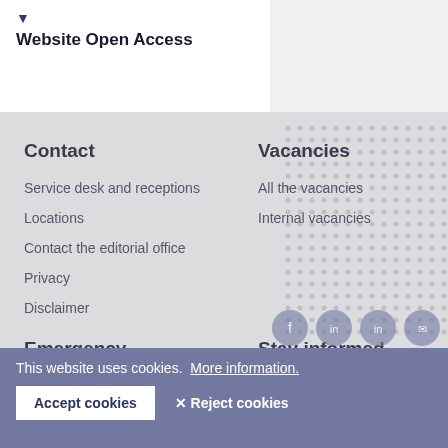Website Open Access
Contact
Service desk and receptions
Locations
Contact the editorial office
Privacy
Disclaimer
Vacancies
All the vacancies
Internal vacancies
Emergency
Alarm numbers
Reporting unsafe situations
Stay informed
Newsletter
This website uses cookies.  More information.
Accept cookies
✕ Reject cookies